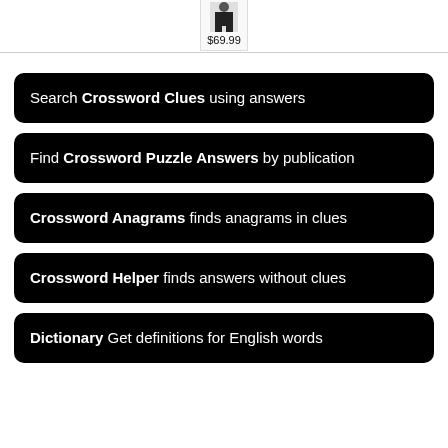[Figure (photo): Product image of a person in black outfit with price $69.99 shown below]
Search Crossword Clues using answers
Find Crossword Puzzle Answers by publication
Crossword Anagrams finds anagrams in clues
Crossword Helper finds answers without clues
Dictionary Get definitions for English words